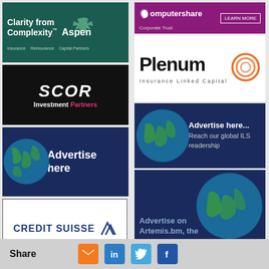[Figure (logo): Aspen Insurance - Clarity from Complexity logo on dark green background with Insurance, Reinsurance, Capital Partners tagline]
[Figure (logo): SCOR Investment Partners logo on black background]
[Figure (advertisement): Advertise here banner with globe on dark navy background]
[Figure (logo): Credit Suisse logo in blue with sail icon on white background with border]
[Figure (logo): Computershare Corporate Trust logo on purple/magenta background with Learn More button]
[Figure (logo): Plenum Insurance Linked Capital logo on white background with orange circular icon]
[Figure (advertisement): Advertise here... Reach our global ILS readership banner with globe]
[Figure (advertisement): Advertise on Artemis.bm, the largest audience of its kind banner with earth globe]
Share